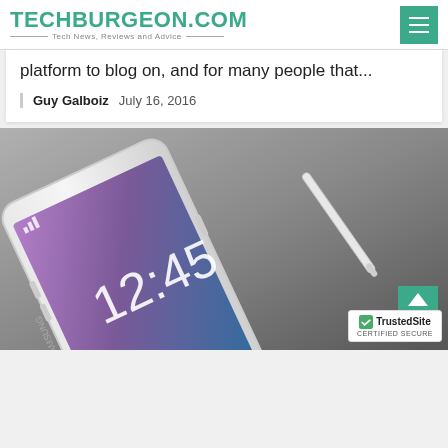TECHBURGEON.COM — Tech News, Reviews and Advice
platform to blog on, and for many people that...
Guy Galboiz   July 16, 2016
[Figure (photo): Samsung Galaxy Note smartphone shown at an angle with stylus pen, displaying 12:45 on lock screen with purple wallpaper]
TrustedSite CERTIFIED SECURE